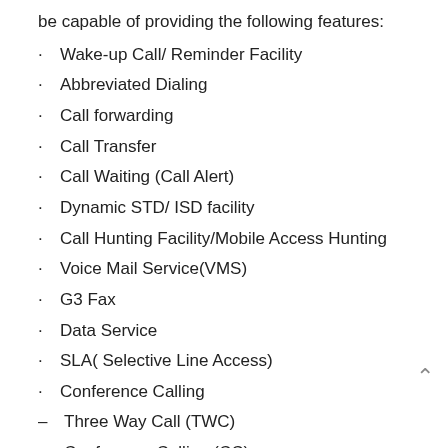be capable of providing the following features:
Wake-up Call/ Reminder Facility
Abbreviated Dialing
Call forwarding
Call Transfer
Call Waiting (Call Alert)
Dynamic STD/ ISD facility
Call Hunting Facility/Mobile Access Hunting
Voice Mail Service(VMS)
G3 Fax
Data Service
SLA( Selective Line Access)
Conference Calling
– Three Way Call (TWC)
– Conference Calling (CC)
CLIP( Calling Line Identification Presentation)